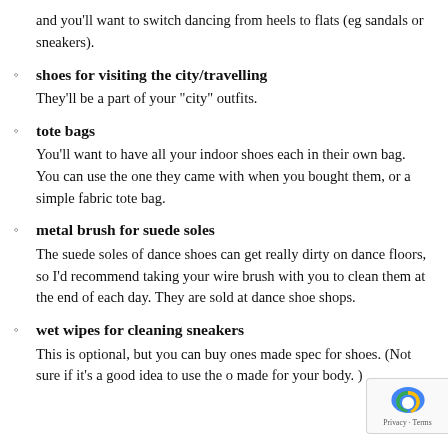and you’ll want to switch dancing from heels to flats (eg sandals or sneakers).
shoes for visiting the city/travelling
They’ll be a part of your “city” outfits.
tote bags
You’ll want to have all your indoor shoes each in their own bag. You can use the one they came with when you bought them, or a simple fabric tote bag.
metal brush for suede soles
The suede soles of dance shoes can get really dirty on dance floors, so I’d recommend taking your wire brush with you to clean them at the end of each day. They are sold at dance shoe shops.
wet wipes for cleaning sneakers
This is optional, but you can buy ones made spec for shoes. (Not sure if it’s a good idea to use the o made for your body. )